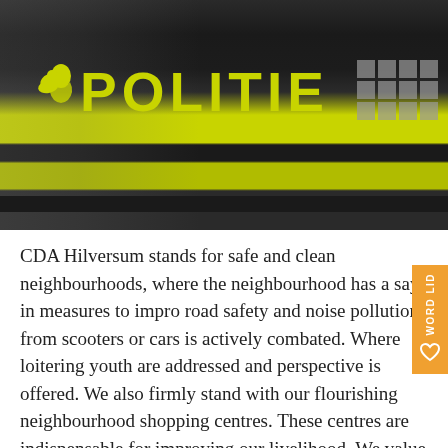[Figure (photo): Close-up photo of a Dutch police (Politie) uniform jacket in black with yellow-green reflective stripe. The text POLITIE with the police logo is visible in yellow-green on the dark jacket.]
CDA Hilversum stands for safe and clean neighbourhoods, where the neighbourhood has a say in measures to improve road safety and noise pollution from scooters or cars is actively combated. Where loitering youth are addressed and perspective is offered. We also firmly stand with our flourishing neighbourhood shopping centres. These centres are indispensable for improving our livelihood. We value the role of the community police officer in our neighbourhoods and villages. As the eyes and ears of the neighbourhood,